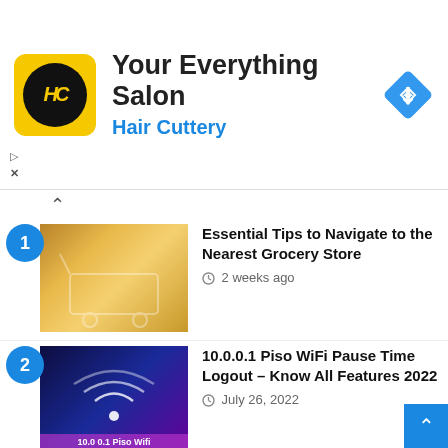[Figure (logo): Hair Cuttery ad banner with HC logo, text 'Your Everything Salon' and 'Hair Cuttery', and a blue navigation arrow diamond icon]
Essential Tips to Navigate to the Nearest Grocery Store — 2 weeks ago
10.0.0.1 Piso WiFi Pause Time Logout – Know All Features 2022 — July 26, 2022
MSUM D2L Login and eServices — July 26, 2022
Turkish123 – Watch Series & Download App Review — July 26, 2022